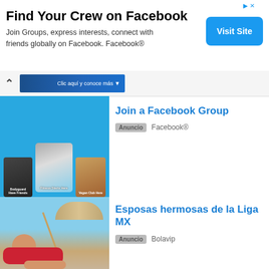[Figure (screenshot): Facebook advertisement banner: Find Your Crew on Facebook with Visit Site button]
Find Your Crew on Facebook
Join Groups, express interests, connect with friends globally on Facebook. Facebook®
[Figure (screenshot): Navigation bar with up arrow and blue banner reading 'Clic aquí y conoce más']
[Figure (screenshot): Facebook Groups promotional image with blue background and three photo cards]
Join a Facebook Group
Anuncio  Facebook®
[Figure (photo): Woman in red bikini and hat lying on beach]
Esposas hermosas de la Liga MX
Anuncio  Bolavip
[Figure (photo): Black pickup truck on a forest road]
Vehículos de Menos de $4,000